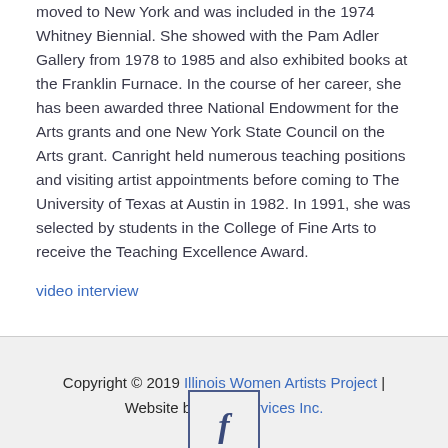moved to New York and was included in the 1974 Whitney Biennial. She showed with the Pam Adler Gallery from 1978 to 1985 and also exhibited books at the Franklin Furnace. In the course of her career, she has been awarded three National Endowment for the Arts grants and one New York State Council on the Arts grant. Canright held numerous teaching positions and visiting artist appointments before coming to The University of Texas at Austin in 1982. In 1991, she was selected by students in the College of Fine Arts to receive the Teaching Excellence Award.
video interview
Copyright © 2019 Illinois Women Artists Project | Website by Web Services Inc.